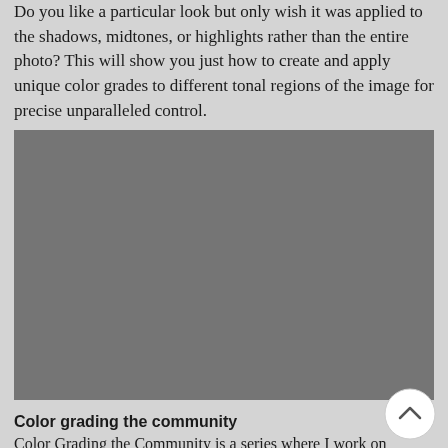Do you like a particular look but only wish it was applied to the shadows, midtones, or highlights rather than the entire photo? This will show you just how to create and apply unique color grades to different tonal regions of the image for precise unparalleled control.
[Figure (photo): A large rectangular placeholder image filled with solid medium gray, representing a photograph related to color grading.]
Color grading the community
Color Grading the Community is a series where I work on images from the public. People were curious to see how the